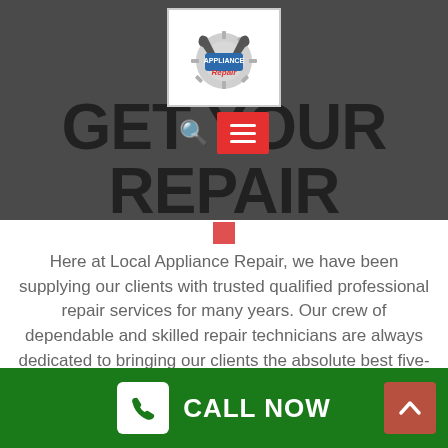[Figure (logo): Appliance Repair logo with wrench icons and gear, white background box]
GET YOUR REPAIR STARTED
Here at Local Appliance Repair, we have been supplying our clients with trusted qualified professional repair services for many years. Our crew of dependable and skilled repair technicians are always dedicated to bringing our clients the absolute best five-star repair services
CALL NOW